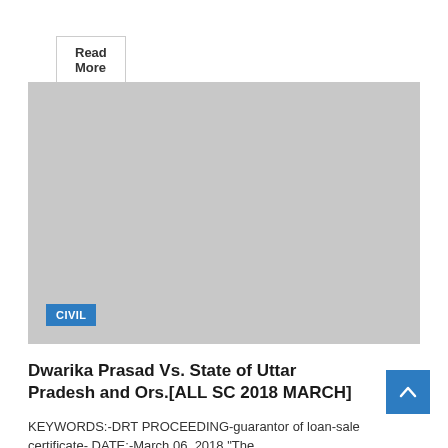Read More
[Figure (photo): Gray placeholder image with a blue 'CIVIL' category tag in the lower left corner]
Dwarika Prasad Vs. State of Uttar Pradesh and Ors.[ALL SC 2018 MARCH]
KEYWORDS:-DRT PROCEEDING-guarantor of loan-sale certificate- DATE:-March 06, 2018 “The